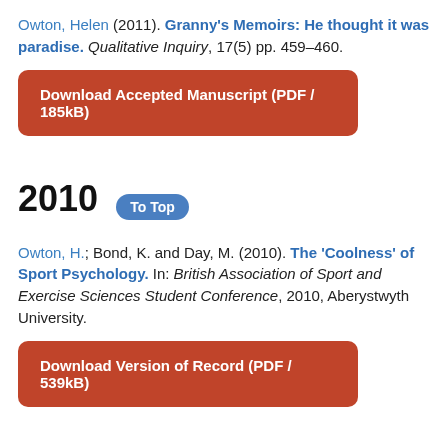Owton, Helen (2011). Granny's Memoirs: He thought it was paradise. Qualitative Inquiry, 17(5) pp. 459–460.
Download Accepted Manuscript (PDF / 185kB)
2010
Owton, H.; Bond, K. and Day, M. (2010). The 'Coolness' of Sport Psychology. In: British Association of Sport and Exercise Sciences Student Conference, 2010, Aberystwyth University.
Download Version of Record (PDF / 539kB)